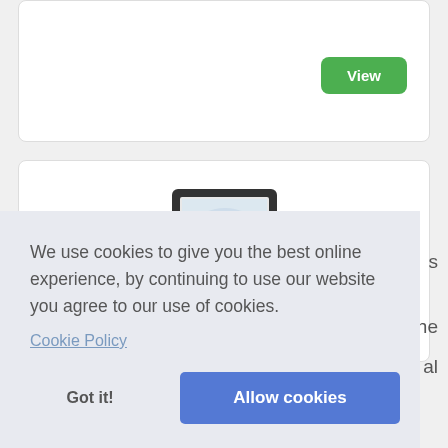[Figure (screenshot): Top card with a green View button on the right side]
[Figure (photo): Product card showing a digital photo frame displaying a family photo]
We use cookies to give you the best online experience, by continuing to use our website you agree to our use of cookies.
Cookie Policy
Got it!
Allow cookies